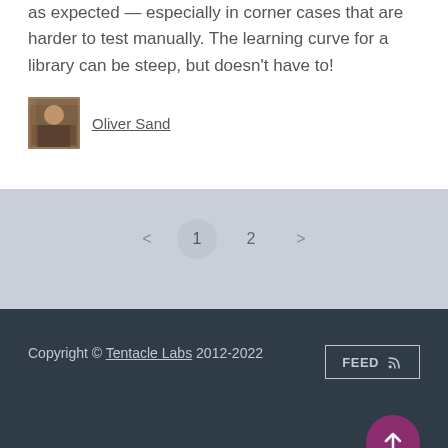as expected — especially in corner cases that are harder to test manually. The learning curve for a library can be steep, but doesn't have to!
Oliver Sand
< 1 2 >
Copyright © Tentacle Labs 2012-2022   FEED
↑